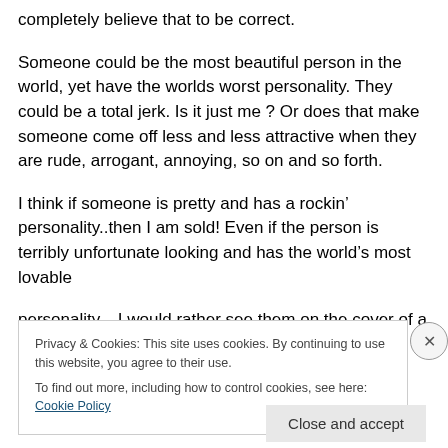completely believe that to be correct.
Someone could be the most beautiful person in the world, yet have the worlds worst personality. They could be a total jerk. Is it just me ? Or does that make someone come off less and less attractive when they are rude, arrogant, annoying, so on and so forth.
I think if someone is pretty and has a rockin’ personality..then I am sold! Even if the person is terribly unfortunate looking and has the world’s most lovable personality...
Privacy & Cookies: This site uses cookies. By continuing to use this website, you agree to their use.
To find out more, including how to control cookies, see here: Cookie Policy
Close and accept